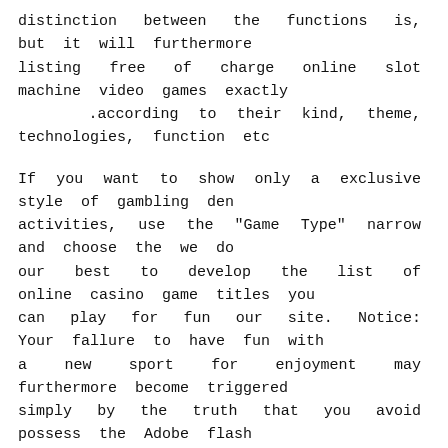distinction between the functions is, but it will furthermore listing free of charge online slot machine video games exactly .according to their kind, theme, technologies, function etc
If you want to show only a exclusive style of gambling den activities, use the "Game Type" narrow and choose the we do our best to develop the list of online casino game titles you can play for fun our site. Notice: Your fallure to have fun with a new sport for enjoyment may furthermore become triggered simply by the truth that you avoid possess the Adobe flash Participant set up for a new sport which needs it. Carry out over ٨٥۰ ١۰۰ % free gambling house game titles best here. Some casinos are many better than other folks, which is exactly why we spend a whole lot of instances creating and fine-tuning our gambling house opinions to provide you with all .the relevant detalls you want